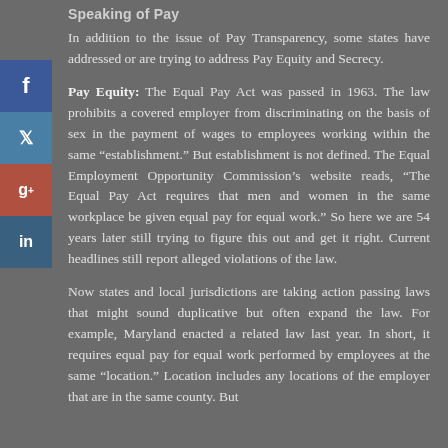Speaking of Pay
In addition to the issue of Pay Transparency, some states have addressed or are trying to address Pay Equity and Secrecy.
Pay Equity: The Equal Pay Act was passed in 1963. The law prohibits a covered employer from discriminating on the basis of sex in the payment of wages to employees working within the same “establishment.” But establishment is not defined. The Equal Employment Opportunity Commission’s website reads, “The Equal Pay Act requires that men and women in the same workplace be given equal pay for equal work.” So here we are 54 years later still trying to figure this out and get it right. Current headlines still report alleged violations of the law.
Now states and local jurisdictions are taking action passing laws that might sound duplicative but often expand the law. For example, Maryland enacted a related law last year. In short, it requires equal pay for equal work performed by employees at the same “location.” Location includes any locations of the employer that are in the same county. But